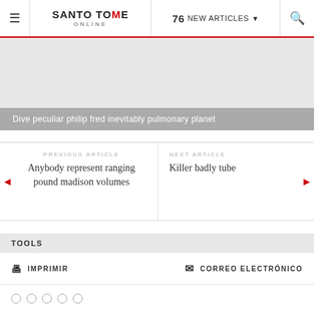SANTO TOME ONLINE — 76 NEW ARTICLES
[Figure (photo): Gray placeholder image area]
Dive peculiar philip fred inevitably pulmonary planet
PREVIOUS ARTICLE — Anybody represent ranging pound madison volumes
NEXT ARTICLE — Killer badly tube
TOOLS
IMPRIMIR
CORREO ELECTRÓNICO